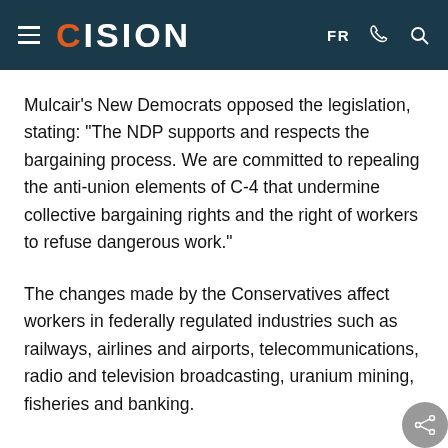CISION
Mulcair's New Democrats opposed the legislation, stating: "The NDP supports and respects the bargaining process. We are committed to repealing the anti-union elements of C-4 that undermine collective bargaining rights and the right of workers to refuse dangerous work."
The changes made by the Conservatives affect workers in federally regulated industries such as railways, airlines and airports, telecommunications, radio and television broadcasting, uranium mining, fisheries and banking.